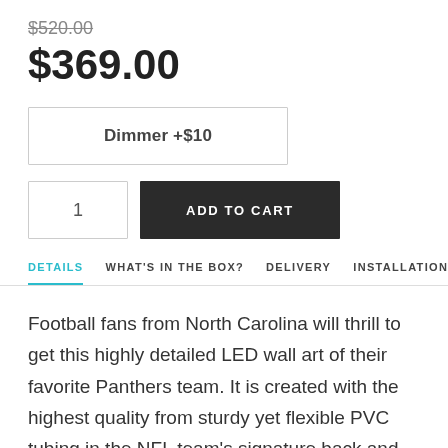$520.00 (strikethrough)
$369.00
Dimmer +$10
1 | ADD TO CART
DETAILS  WHAT'S IN THE BOX?  DELIVERY  INSTALLATION
Football fans from North Carolina will thrill to get this highly detailed LED wall art of their favorite Panthers team. It is created with the highest quality from sturdy yet flexible PVC tubing in the NFL team's signature back and bright blue. This neon sign offers efficient operation and long-